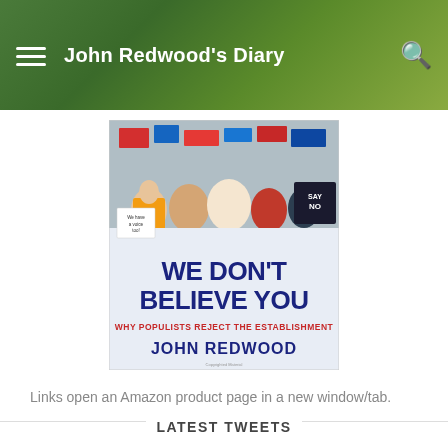John Redwood's Diary
[Figure (photo): Book cover: 'We Don't Believe You – Why Populists Reject the Establishment' by John Redwood. Shows crowd of protesters with signs and banners, with large bold text on the cover.]
Links open an Amazon product page in a new window/tab.
LATEST TWEETS